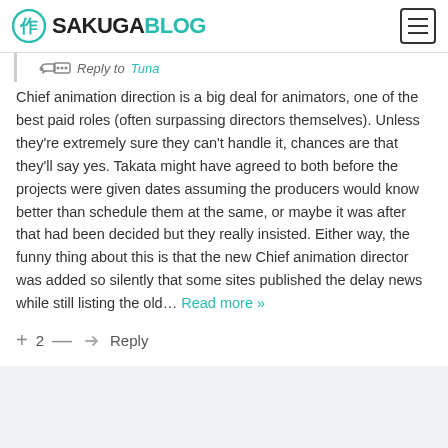SAKUGABLOG
Reply to Tuna
Chief animation direction is a big deal for animators, one of the best paid roles (often surpassing directors themselves). Unless they're extremely sure they can't handle it, chances are that they'll say yes. Takata might have agreed to both before the projects were given dates assuming the producers would know better than schedule them at the same, or maybe it was after that had been decided but they really insisted. Either way, the funny thing about this is that the new Chief animation director was added so silently that some sites published the delay news while still listing the old… Read more »
+ 2 — Reply